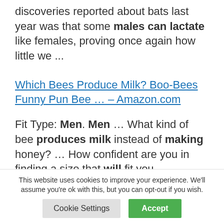discoveries reported about bats last year was that some males can lactate like females, proving once again how little we ...
Which Bees Produce Milk? Boo-Bees Funny Pun Bee ... – Amazon.com
Fit Type: Men. Men ... What kind of bee produces milk instead of making honey? ... How confident are you in finding a size that will fit you
This website uses cookies to improve your experience. We'll assume you're ok with this, but you can opt-out if you wish.